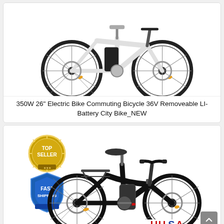[Figure (photo): White electric commuting bicycle with black battery on frame, orange reflectors, disc brakes, shown on white background]
350W 26" Electric Bike Commuting Bicycle 36V Removeable LI-Battery City Bike_NEW
[Figure (photo): Black electric city bicycle with Top Seller gold badge and Fast Shipping blue shield badge in upper left, USA text in lower right, shown on white background. Bike has rear rack, disc brakes, step-through frame with red accents.]